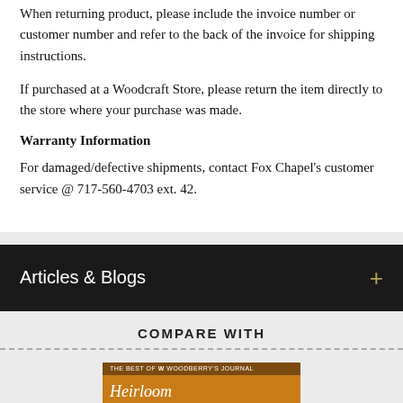When returning product, please include the invoice number or customer number and refer to the back of the invoice for shipping instructions.
If purchased at a Woodcraft Store, please return the item directly to the store where your purchase was made.
Warranty Information
For damaged/defective shipments, contact Fox Chapel's customer service @ 717-560-4703 ext. 42.
Articles & Blogs
COMPARE WITH
[Figure (illustration): Book cover for 'Heirloom Furniture Projects' with orange/brown background and white text]